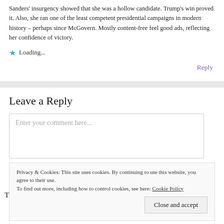Sanders' insurgency showed that she was a hollow candidate. Trump's win proved it. Also, she ran one of the least competent presidential campaigns in modern history – perhaps since McGovern. Mostly content-free feel good ads, reflecting her confidence of victory.
Loading...
Reply
Leave a Reply
Enter your comment here...
Privacy & Cookies: This site uses cookies. By continuing to use this website, you agree to their use.
To find out more, including how to control cookies, see here: Cookie Policy
Close and accept